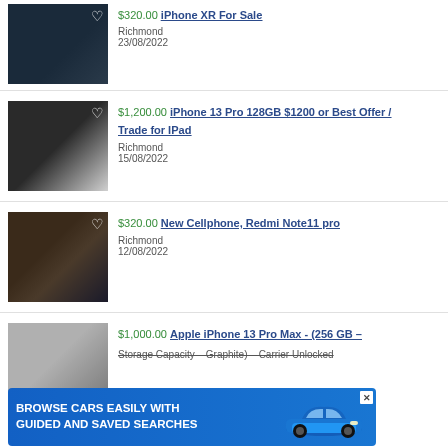$320.00 iPhone XR For Sale | Richmond | 23/08/2022
$1,200.00 iPhone 13 Pro 128GB $1200 or Best Offer / Trade for IPad | Richmond | 15/08/2022
$320.00 New Cellphone, Redmi Note11 pro | Richmond | 12/08/2022
$1,000.00 Apple iPhone 13 Pro Max - (256 GB - Storage Capacity - Graphite) - Carrier Unlocked
[Figure (screenshot): Ad banner: BROWSE CARS EASILY WITH GUIDED AND SAVED SEARCHES with blue BMW car image]